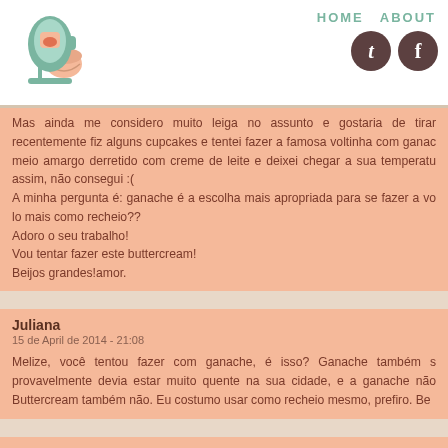HOME   ABOUT
Mas ainda me considero muito leiga no assunto e gostaria de tirar recentemente fiz alguns cupcakes e tentei fazer a famosa voltinha com ganac meio amargo derretido com creme de leite e deixei chegar a sua temperatu assim, não consegui :( A minha pergunta é: ganache é a escolha mais apropriada para se fazer a vo lo mais como recheio?? Adoro o seu trabalho! Vou tentar fazer este buttercream! Beijos grandes!amor.
Juliana
15 de April de 2014 - 21:08
Melize, você tentou fazer com ganache, é isso? Ganache também s provavelmente devia estar muito quente na sua cidade, e a ganache não Buttercream também não. Eu costumo usar como recheio mesmo, prefiro. Be
Vanessa
07 de April de 2014 - 13:25